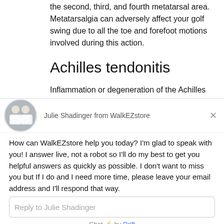the second, third, and fourth metatarsal area. Metatarsalgia can adversely affect your golf swing due to all the toe and forefoot motions involved during this action.
Achilles tendonitis
Inflammation or degeneration of the Achilles tendon – the large tendon located in the back of the leg that
[Figure (screenshot): Live chat widget from WalkEZstore featuring agent Julie Shadinger. Includes avatar photo, greeting message, reply input field, and Drift branding footer.]
Julie Shadinger from WalkEZstore
How can WalkEZstore help you today? I'm glad to speak with you! I answer live, not a robot so I'll do my best to get you helpful answers as quickly as possible. I don't want to miss you but If I do and I need more time, please leave your email address and I'll respond that way.
Reply to Julie Shadinger
Chat ⚡ by Drift